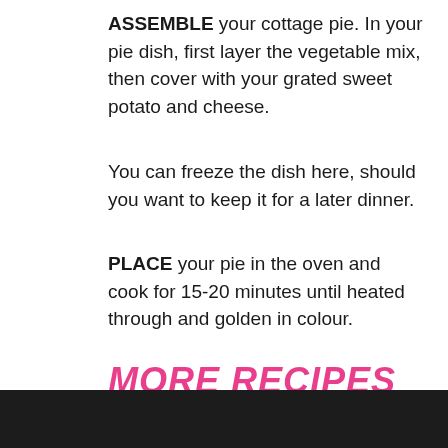ASSEMBLE your cottage pie. In your pie dish, first layer the vegetable mix, then cover with your grated sweet potato and cheese.
You can freeze the dish here, should you want to keep it for a later dinner.
PLACE your pie in the oven and cook for 15-20 minutes until heated through and golden in colour.
MORE RECIPES
[Figure (photo): Dark food photo strip at bottom of page]